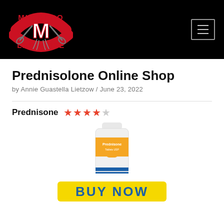[Figure (logo): Muskego Lacrosse logo — red arc text 'MUSKEGO' above, 'LACROSSE' below, large M with lacrosse sticks on black background]
Prednisolone Online Shop
by Annie Guastella Lietzow / June 23, 2022
Prednisone ★★★★☆
[Figure (photo): White pill bottle labeled Prednisone Tablets USP with orange and blue accents]
[Figure (other): Yellow BUY NOW button with dark blue bold text]